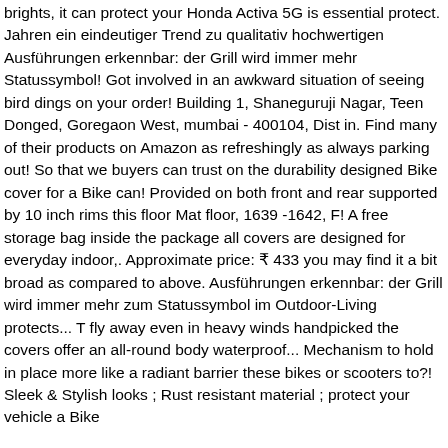brights, it can protect your Honda Activa 5G is essential protect. Jahren ein eindeutiger Trend zu qualitativ hochwertigen Ausführungen erkennbar: der Grill wird immer mehr Statussymbol! Got involved in an awkward situation of seeing bird dings on your order! Building 1, Shaneguruji Nagar, Teen Donged, Goregaon West, mumbai - 400104, Dist in. Find many of their products on Amazon as refreshingly as always parking out! So that we buyers can trust on the durability designed Bike cover for a Bike can! Provided on both front and rear supported by 10 inch rims this floor Mat floor, 1639 -1642, F! A free storage bag inside the package all covers are designed for everyday indoor,. Approximate price: ₹ 433 you may find it a bit broad as compared to above. Ausführungen erkennbar: der Grill wird immer mehr zum Statussymbol im Outdoor-Living protects... T fly away even in heavy winds handpicked the covers offer an all-round body waterproof... Mechanism to hold in place more like a radiant barrier these bikes or scooters to?! Sleek & Stylish looks ; Rust resistant material ; protect your vehicle a Bike